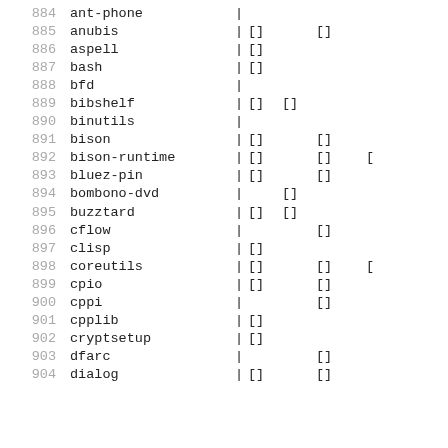| num | name | | | c1 | c2 | c3 | c4 |
| --- | --- | --- | --- | --- | --- | --- |
| 884 | ant-phone | | |  |  |  |  |
| 885 | anubis | | | [] |  | [] |  |
| 886 | aspell | | | [] |  |  |  |
| 887 | bash | | | [] |  |  |  |
| 888 | bfd | | |  |  |  |  |
| 889 | bibshelf | | | [] | [] |  |  |
| 890 | binutils | | |  |  |  |  |
| 891 | bison | | | [] |  | [] |  |
| 892 | bison-runtime | | | [] |  | [] | [ |
| 893 | bluez-pin | | | [] |  | [] |  |
| 894 | bombono-dvd | | |  | [] |  |  |
| 895 | buzztard | | | [] | [] |  |  |
| 896 | cflow | | |  |  | [] |  |
| 897 | clisp | | | [] |  |  |  |
| 898 | coreutils | | | [] |  | [] | [ |
| 899 | cpio | | | [] |  | [] |  |
| 900 | cppi | | |  |  | [] |  |
| 901 | cpplib | | | [] |  |  |  |
| 902 | cryptsetup | | | [] |  |  |  |
| 903 | dfarc | | |  |  | [] |  |
| 904 | dialog | | | [] |  | [] |  |